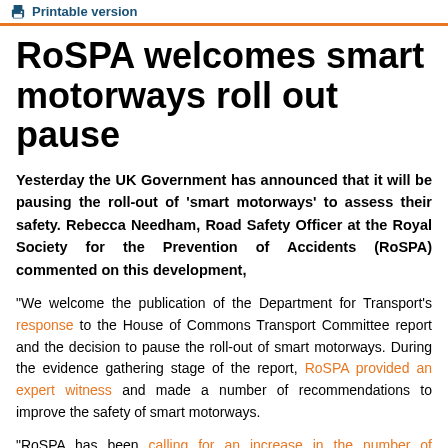Printable version
RoSPA welcomes smart motorways roll out pause
Yesterday the UK Government has announced that it will be pausing the roll-out of ‘smart motorways’ to assess their safety. Rebecca Needham, Road Safety Officer at the Royal Society for the Prevention of Accidents (RoSPA) commented on this development,
“We welcome the publication of the Department for Transport’s response to the House of Commons Transport Committee report and the decision to pause the roll-out of smart motorways. During the evidence gathering stage of the report, RoSPA provided an expert witness and made a number of recommendations to improve the safety of smart motorways.
“RoSPA has been calling for an increase in the number of emergency refuge areas on ‘all lane running’ (ALR) smart motorways and we are pleased to see that the Department for Transport has committed to a retrofit a further 150 emergency refuge areas to existing schemes.
“It is vitally important that a programme to retrofit emergency refuges on ALR motorways is put in place, because between 2015